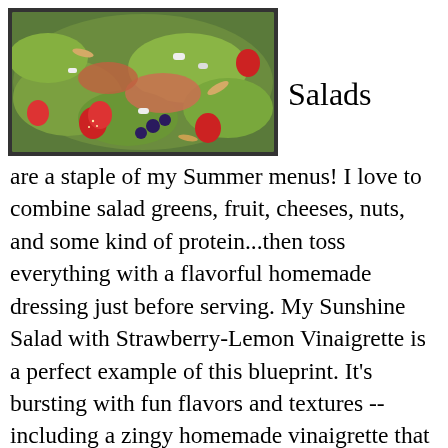[Figure (photo): A colorful salad with strawberries, greens, ham/prosciutto, and various toppings, viewed from above.]
Salads are a staple of my Summer menus! I love to combine salad greens, fruit, cheeses, nuts, and some kind of protein...then toss everything with a flavorful homemade dressing just before serving. My Sunshine Salad with Strawberry-Lemon Vinaigrette is a perfect example of this blueprint. It's bursting with fun flavors and textures -- including a zingy homemade vinaigrette that features strawberries and lemon, white balsamic, and olive oil. This big-flavor salad also features crumbled blue cheese